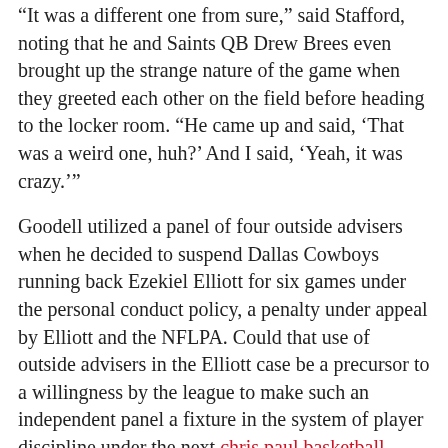“It was a different one from sure,” said Stafford, noting that he and Saints QB Drew Brees even brought up the strange nature of the game when they greeted each other on the field before heading to the locker room. “He came up and said, ‘That was a weird one, huh?’ And I said, ‘Yeah, it was crazy.’”
Goodell utilized a panel of four outside advisers when he decided to suspend Dallas Cowboys running back Ezekiel Elliott for six games under the personal conduct policy, a penalty under appeal by Elliott and the NFLPA. Could that use of outside advisers in the Elliott case be a precursor to a willingness by the league to make such an independent panel a fixture in the system of player discipline under the next chris paul basketball shoes CBA.
Related Posts:
The schedule is now being changed to make sur
A 1977 graduate of Emerson College in Boston, he